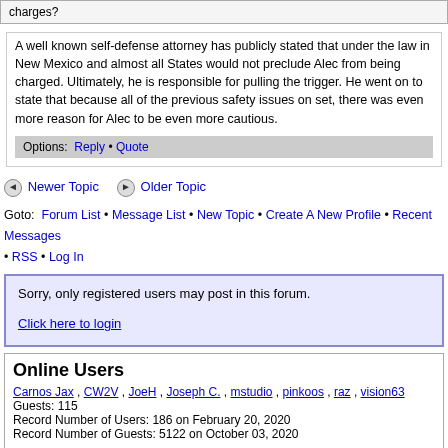charges?
A well known self-defense attorney has publicly stated that under the law in New Mexico and almost all States would not preclude Alec from being charged. Ultimately, he is responsible for pulling the trigger. He went on to state that because all of the previous safety issues on set, there was even more reason for Alec to be even more cautious.
Options: Reply • Quote
Newer Topic   Older Topic
Goto: Forum List • Message List • New Topic • Create A New Profile • Recent Messages • RSS • Log In
Sorry, only registered users may post in this forum.

Click here to login
Online Users
Carnos Jax , CW2V , JoeH , Joseph C. , mstudio , pinkoos , raz , vision63
Guests: 115
Record Number of Users: 186 on February 20, 2020
Record Number of Guests: 5122 on October 03, 2020
Member Map | Contact Us
Use of MacResource.com and the Forums are subject to the Terms of Service. Rea MacResource.com; All Rights Reserved. All other copyrights are property of the